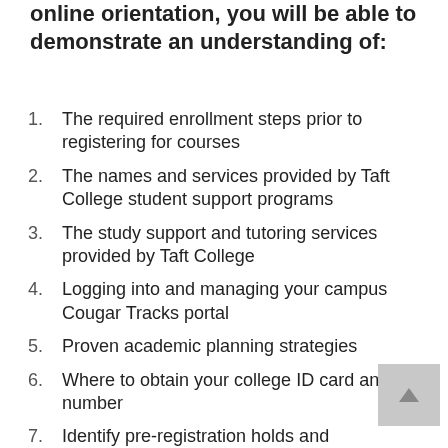online orientation, you will be able to demonstrate an understanding of:
The required enrollment steps prior to registering for courses
The names and services provided by Taft College student support programs
The study support and tutoring services provided by Taft College
Logging into and managing your campus Cougar Tracks portal
Proven academic planning strategies
Where to obtain your college ID card and/or number
Identify pre-registration holds and